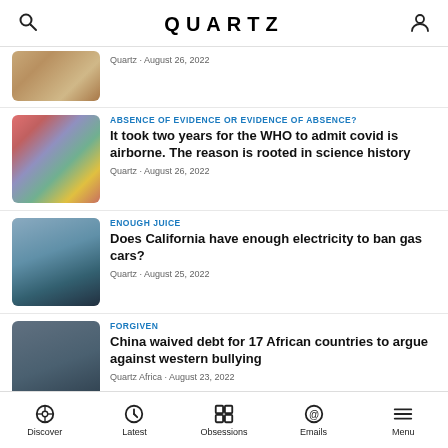QUARTZ
Quartz · August 26, 2022
ABSENCE OF EVIDENCE OR EVIDENCE OF ABSENCE?
It took two years for the WHO to admit covid is airborne. The reason is rooted in science history
Quartz · August 26, 2022
ENOUGH JUICE
Does California have enough electricity to ban gas cars?
Quartz · August 25, 2022
FORGIVEN
China waived debt for 17 African countries to argue against western bullying
Quartz Africa · August 23, 2022
Discover  Latest  Obsessions  Emails  Menu